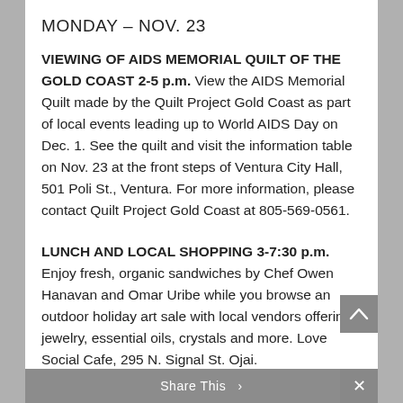MONDAY – NOV. 23
VIEWING OF AIDS MEMORIAL QUILT OF THE GOLD COAST 2-5 p.m. View the AIDS Memorial Quilt made by the Quilt Project Gold Coast as part of local events leading up to World AIDS Day on Dec. 1. See the quilt and visit the information table on Nov. 23 at the front steps of Ventura City Hall, 501 Poli St., Ventura. For more information, please contact Quilt Project Gold Coast at 805-569-0561.
LUNCH AND LOCAL SHOPPING 3-7:30 p.m. Enjoy fresh, organic sandwiches by Chef Owen Hanavan and Omar Uribe while you browse an outdoor holiday art sale with local vendors offering jewelry, essential oils, crystals and more. Love Social Cafe, 295 N. Signal St. Ojai.
Share This